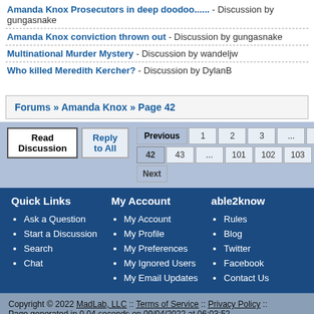Amanda Knox Prosecutors in deep doodoo...... - Discussion by gungasnake
Amanda Knox conviction thrown out - Discussion by gungasnake
Multinational Murder Mystery - Discussion by wandeljw
Who killed Meredith Kercher? - Discussion by DylanB
Forums » Amanda Knox » Page 42
Read Discussion | Reply to All | Previous 1 2 3 ... 41 42 43 ... 101 102 103 | Next
Quick Links
Ask a Question
Start a Discussion
Search
Chat
My Account
My Account
My Profile
My Preferences
My Ignored Users
My Email Updates
able2know
Rules
Blog
Twitter
Facebook
Contact Us
Copyright © 2022 MadLab, LLC :: Terms of Service :: Privacy Policy :: Page generated in 0.04 seconds on 09/04/2022 at 06:03:52